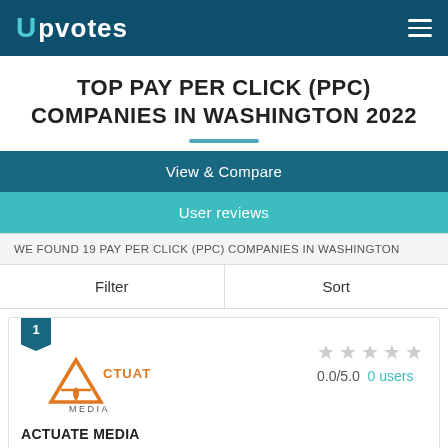Upvotes
TOP PAY PER CLICK (PPC) COMPANIES IN WASHINGTON 2022
View & Compare
User reviews
WE FOUND 19 PAY PER CLICK (PPC) COMPANIES IN WASHINGTON
Filter	Sort
[Figure (logo): Actuate Media company logo with rank badge showing '1']
0.0/5.0  0 users
ACTUATE MEDIA